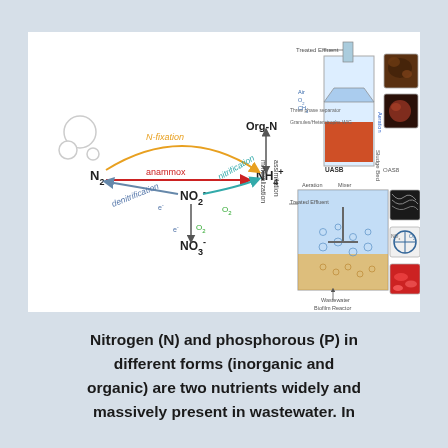[Figure (schematic): Scientific diagram showing nitrogen cycle (N-fixation, anammox, denitrification, nitrification) on the left with chemical species (N2, NO2-, NO3-, NH4+, Org-N), and engineering diagrams of bioreactors (UASB sludge bed reactor and biofilm reactor) on the right with microscopy photos of microbial communities.]
Nitrogen (N) and phosphorous (P) in different forms (inorganic and organic) are two nutrients widely and massively present in wastewater. In